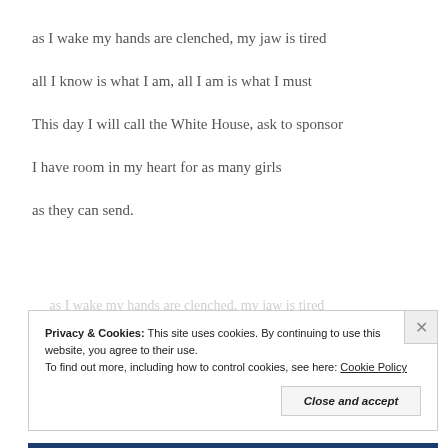as I wake my hands are clenched, my jaw is tired
all I know is what I am, all I am is what I must
This day I will call the White House, ask to sponsor
I have room in my heart for as many girls
as they can send.
Privacy & Cookies: This site uses cookies. By continuing to use this website, you agree to their use.
To find out more, including how to control cookies, see here: Cookie Policy
Close and accept